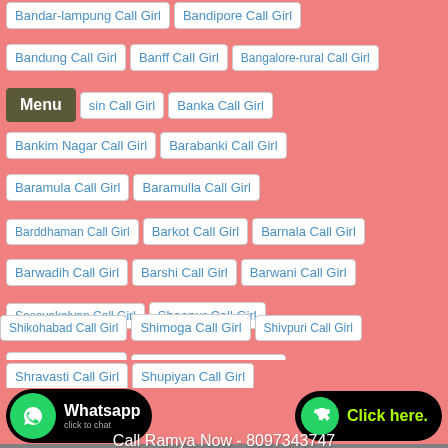Bandar-lampung Call Girl
Bandipore Call Girl
Bandung Call Girl
Banff Call Girl
Bangalore-rural Call Girl
sin Call Girl
Banka Call Girl
Bankim Nagar Call Girl
Barabanki Call Girl
Baramula Call Girl
Baramulla Call Girl
Barddhaman Call Girl
Barkot Call Girl
Barnala Call Girl
Barwadih Call Girl
Barshi Call Girl
Barwani Call Girl
Sasavakalyan Call Girl
Sheopur Call Girl
Shikohabad Call Girl
Shimoga Call Girl
Shivpuri Call Girl
Shoranur Call Girl
Shravanabelagola Call Girl
Shravasti Call Girl
Shupiyan Call Girl
Siddharth-nagar Call Girl
Singhik Call Girl
Bastar Call Girl
Call Ramya Now - 8097343747
WhatsApp To Ramya - 8097343747